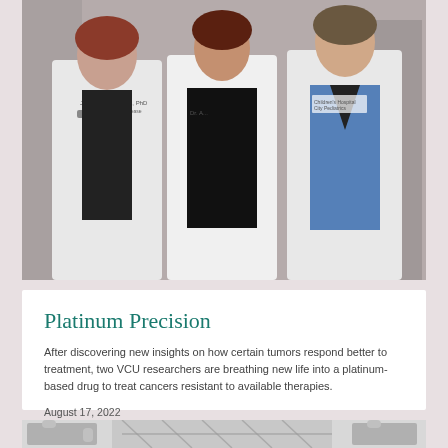[Figure (photo): Three people wearing white lab coats standing together, two women and one man, in a laboratory or medical setting]
Platinum Precision
After discovering new insights on how certain tumors respond better to treatment, two VCU researchers are breathing new life into a platinum-based drug to treat cancers resistant to available therapies.
August 17, 2022
[Figure (photo): Partially visible image at bottom showing puzzle pieces and industrial/infrastructure elements in grayscale]